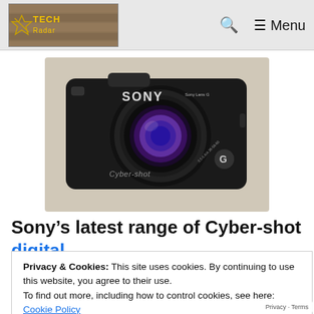Tech Radar — ☰ Menu
[Figure (photo): Sony Cyber-shot DSC-HX9V black compact digital camera, front view showing lens and G label]
Sony's latest range of Cyber-shot digital
Privacy & Cookies: This site uses cookies. By continuing to use this website, you agree to their use.
To find out more, including how to control cookies, see here:
Cookie Policy
Close and accept
9v is designed as a traditional compact camera which boasts some top-end new
Privacy · Terms